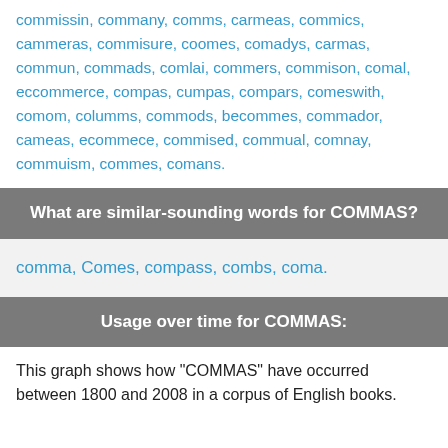commissin, commany, comms, carmeas, commics, cammeras, commisure, coomes, comadys, carmas, commun, commads, comlai, commers, commison, comal, eccommerce, compas, cumpas, compars, comeswith, comom, columms, commods, becommes, commador, cameas, ecommece, commised, commual, comnay, commuism, commes, comans.
What are similar-sounding words for COMMAS?
comma, Comes, compass, combs, coma.
Usage over time for COMMAS:
This graph shows how "COMMAS" have occurred between 1800 and 2008 in a corpus of English books.